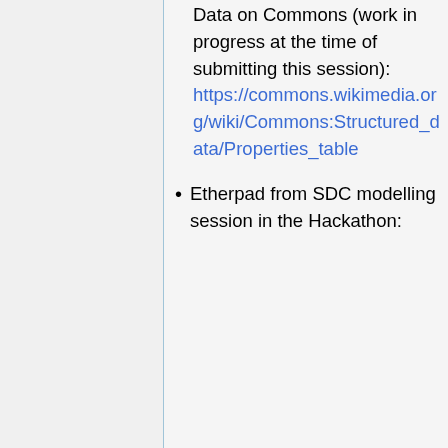Data on Commons (work in progress at the time of submitting this session): https://commons.wikimedia.org/wiki/Commons:Structured_data/Properties_table
Etherpad from SDC modelling session in the Hackathon: